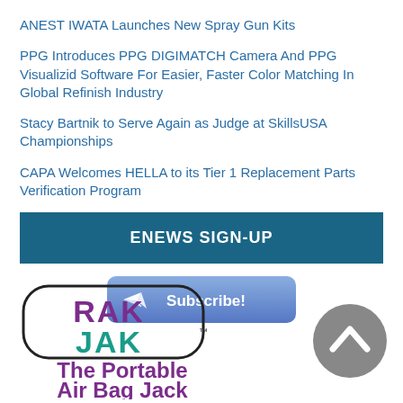ANEST IWATA Launches New Spray Gun Kits
PPG Introduces PPG DIGIMATCH Camera And PPG Visualizid Software For Easier, Faster Color Matching In Global Refinish Industry
Stacy Bartnik to Serve Again as Judge at SkillsUSA Championships
CAPA Welcomes HELLA to its Tier 1 Replacement Parts Verification Program
ENEWS SIGN-UP
[Figure (illustration): Subscribe button with paper plane icon on blue gradient background]
[Figure (logo): RAK JAK - The Portable Air Bag Jack logo with pill-shaped border, RAK in purple, JAK in teal]
[Figure (illustration): Grey circular back-to-top button with upward chevron arrow]